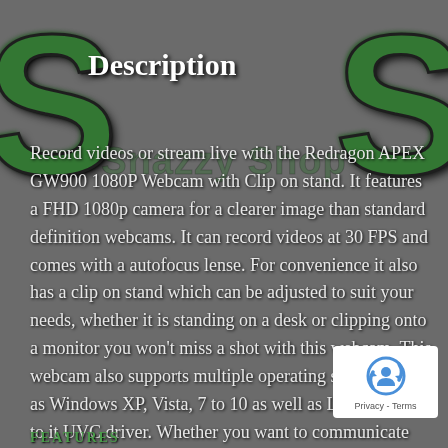Description
Record videos or stream live with the Redragon APEX GW900 1080P Webcam with Clip on stand. It features a FHD 1080p camera for a clearer image than standard definition webcams. It can record videos at 30 FPS and comes with a autofocus lense. For convenience it also has a clip on stand which can be adjusted to suit your needs, whether it is standing on a desk or clipping onto a monitor you won't miss a shot with this webcam. This webcam also supports multiple operating systems such as Windows XP, Vista, 7 to 10 as well as Linux thanks to it UVC driver. Whether you want to communicate with family, create streaming content online or do some online gaming, the GW900 is the go webcam.
[Figure (logo): reCAPTCHA logo with Privacy - Terms text]